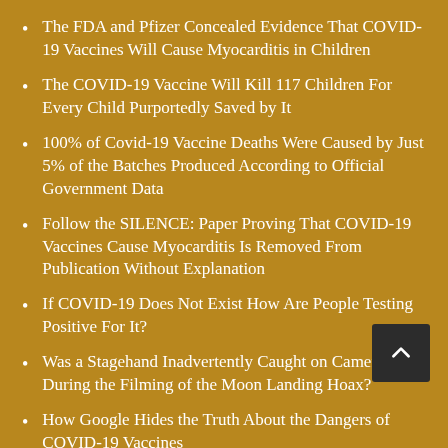The FDA and Pfizer Concealed Evidence That COVID-19 Vaccines Will Cause Myocarditis in Children
The COVID-19 Vaccine Will Kill 117 Children For Every Child Purportedly Saved by It
100% of Covid-19 Vaccine Deaths Were Caused by Just 5% of the Batches Produced According to Official Government Data
Follow the SILENCE: Paper Proving That COVID-19 Vaccines Cause Myocarditis Is Removed From Publication Without Explanation
If COVID-19 Does Not Exist How Are People Testing Positive For It?
Was a Stagehand Inadvertently Caught on Camera During the Filming of the Moon Landing Hoax?
How Google Hides the Truth About the Dangers of COVID-19 Vaccines
Will the Marburg Virus Be the Next Plandemic?
Doctor Finds That His Patients Have Permanent Organ Damage from Blood Clots Caused by COVID-19 Vaccines